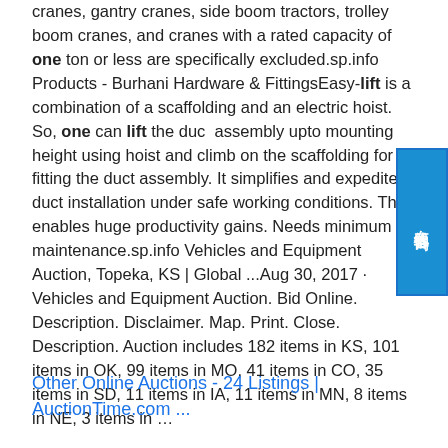cranes, gantry cranes, side boom tractors, trolley boom cranes, and cranes with a rated capacity of one ton or less are specifically excluded.sp.info Products - Burhani Hardware & FittingsEasy-lift is a combination of a scaffolding and an electric hoist. So, one can lift the duct assembly upto mounting height using hoist and climb on the scaffolding for fitting the duct assembly. It simplifies and expedites duct installation under safe working conditions. That enables huge productivity gains. Needs minimum maintenance.sp.info Vehicles and Equipment Auction, Topeka, KS | Global ...Aug 30, 2017 · Vehicles and Equipment Auction. Bid Online. Description. Disclaimer. Map. Print. Close. Description. Auction includes 182 items in KS, 101 items in OK, 99 items in MO, 41 items in CO, 35 items in SD, 11 items in IA, 11 items in MN, 8 items in NE, 3 items in …
Other Online Auctions - 24 Listings | AuctionTime.com ...
[Figure (other): Chinese language chat/consultation button widget on the right side, with characters 在线咨询 (online consultation) on a blue background]